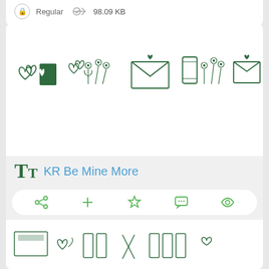Regular  98.09 KB
[Figure (illustration): Font preview showing decorative heart and mail envelope dingbat symbols in dark green outline style: double hearts with filled card, hearts with floral bouquet, envelope with heart, phone with bouquet, envelope with phone]
TT  KR Be Mine More
[Figure (illustration): Action icons row: share, add, star/favorite, comment, eye/view — all in green]
Regular  47.83 KB
[Figure (illustration): Partial font preview at bottom showing more decorative dingbat symbols in green outline style]